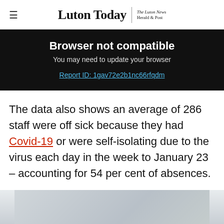Luton Today | The Luton News Herald & Post
Browser not compatible
You may need to update your browser
Report ID: 1gav72e2b1nc66rfqdm
The data also shows an average of 286 staff were off sick because they had Covid-19 or were self-isolating due to the virus each day in the week to January 23 – accounting for 54 per cent of absences.
[Figure (photo): Partial view of an image at the bottom of the page, appears to show a wintry or overcast scene.]